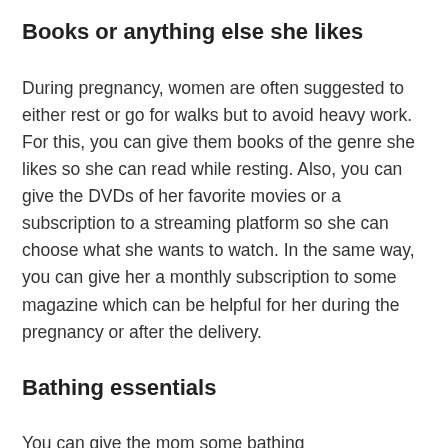Books or anything else she likes
During pregnancy, women are often suggested to either rest or go for walks but to avoid heavy work. For this, you can give them books of the genre she likes so she can read while resting. Also, you can give the DVDs of her favorite movies or a subscription to a streaming platform so she can choose what she wants to watch. In the same way, you can give her a monthly subscription to some magazine which can be helpful for her during the pregnancy or after the delivery.
Bathing essentials
You can give the mom some bathing